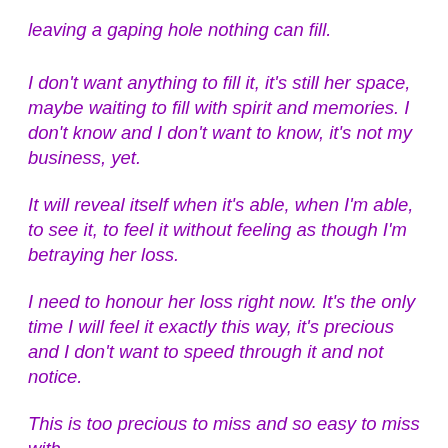leaving a gaping hole nothing can fill.
I don't want anything to fill it, it's still her space, maybe waiting to fill with spirit and memories. I don't know and I don't want to know, it's not my business, yet.
It will reveal itself when it's able, when I'm able, to see it, to feel it without feeling as though I'm betraying her loss.
I need to honour her loss right now. It's the only time I will feel it exactly this way, it's precious and I don't want to speed through it and not notice.
This is too precious to miss and so easy to miss with